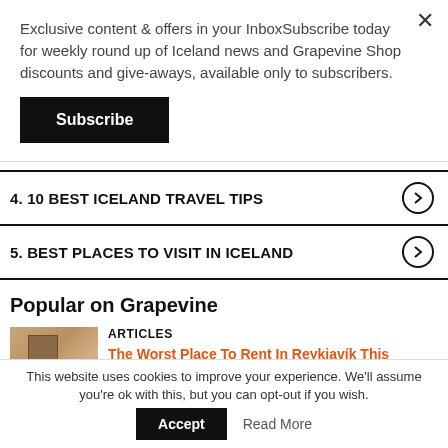Exclusive content & offers in your InboxSubscribe today for weekly round up of Iceland news and Grapevine Shop discounts and give-aways, available only to subscribers.
Subscribe
4. 10 BEST ICELAND TRAVEL TIPS
5. BEST PLACES TO VISIT IN ICELAND
Popular on Grapevine
ARTICLES
The Worst Place To Rent In Reykjavík This Month: Hope You Don't Need Your Liver
MAGAZINE
This website uses cookies to improve your experience. We'll assume you're ok with this, but you can opt-out if you wish.
Accept
Read More